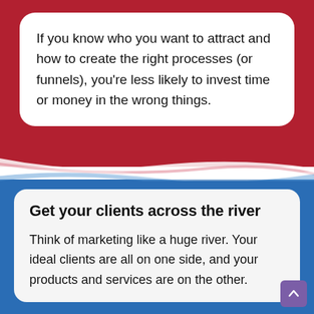If you know who you want to attract and how to create the right processes (or funnels), you're less likely to invest time or money in the wrong things.
Get your clients across the river
Think of marketing like a huge river. Your ideal clients are all on one side, and your products and services are on the other.